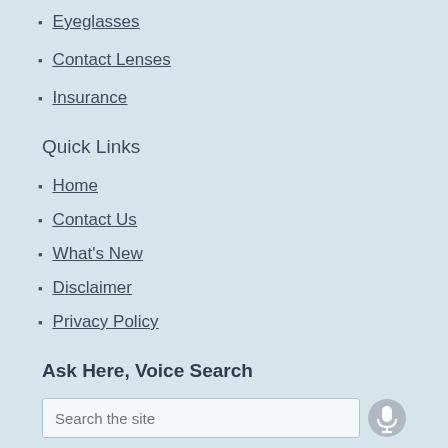Eyeglasses
Contact Lenses
Insurance
Quick Links
Home
Contact Us
What's New
Disclaimer
Privacy Policy
Ask Here, Voice Search
Search the site